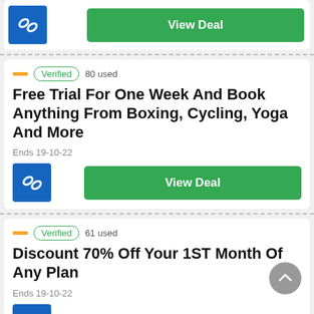[Figure (logo): Blue square logo with chain-link icon]
View Deal
Verified  80 used
Free Trial For One Week And Book Anything From Boxing, Cycling, Yoga And More
Ends 19-10-22
[Figure (logo): Blue square logo with chain-link icon]
View Deal
Verified  61 used
Discount 70% Off Your 1ST Month Of Any Plan
Ends 19-10-22
[Figure (logo): Blue square logo with chain-link icon (partially visible)]